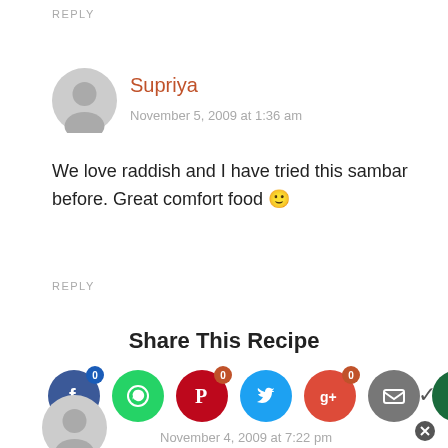REPLY
Supriya
November 5, 2009 at 1:36 am
We love raddish and I have tried this sambar before. Great comfort food 🙂
REPLY
Share This Recipe
November 4, 2009 at 7:22 pm